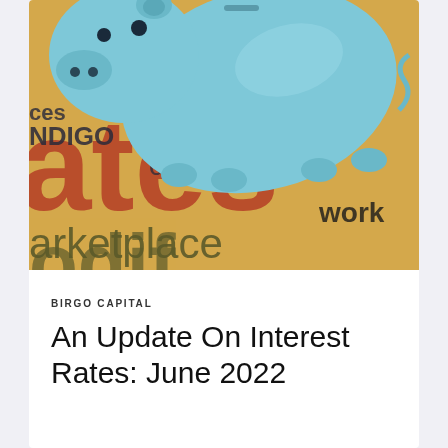[Figure (photo): A light blue ceramic piggy bank resting on top of a yellow/orange document or brochure with large text reading 'rates', 'marketplace', 'california', 'INDIGO', 'ces', 'work', and partial text 'odif'. The background is warm golden-yellow.]
BIRGO CAPITAL
An Update On Interest Rates: June 2022